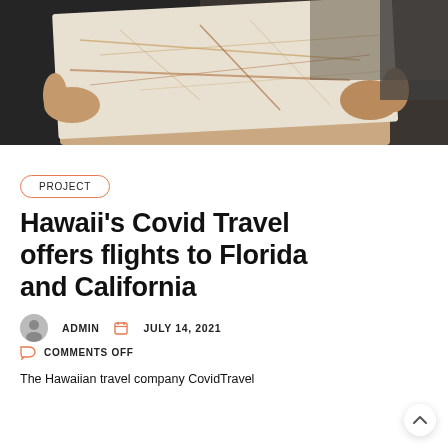[Figure (photo): Person holding and reading a road map, shot from inside a vehicle]
PROJECT
Hawaii's Covid Travel offers flights to Florida and California
ADMIN   JULY 14, 2021
COMMENTS OFF
The Hawaiian travel company CovidTravel